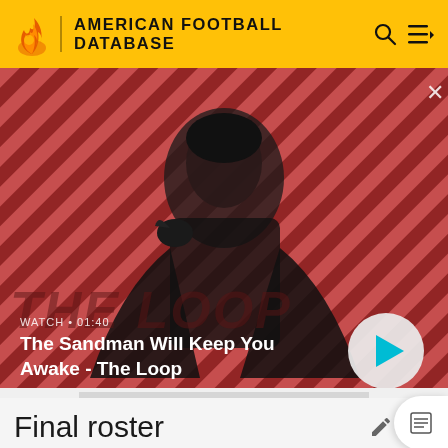AMERICAN FOOTBALL DATABASE
[Figure (screenshot): Video thumbnail showing a dark-cloaked figure with a raven on their shoulder against a diagonal red and dark striped background. Shows 'THE LOOP' text overlay. Bottom-left shows 'WATCH • 01:40' and title 'The Sandman Will Keep You Awake - The Loop'. A circular play button is in the bottom-right.]
WATCH • 01:40
The Sandman Will Keep You Awake - The Loop
ADVERTISEMENT
Final roster